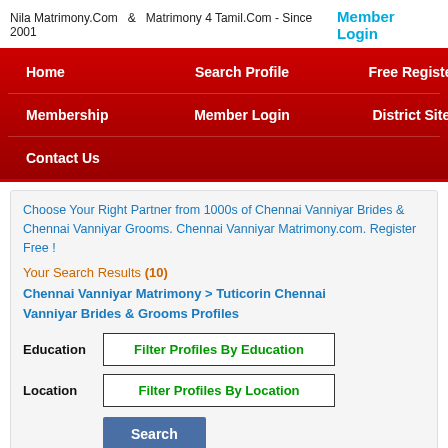Nila Matrimony.Com   &   Matrimony 4 Tamil.Com - Since 2001    Member Login
Home
Search Profile
Free Register
Membership
Member Login
District Sites
Contact Us
Choose Your Right Partner from 1000s of Chennai Vanniyar Brides & Chennai Vanniyar Grooms. Chennai Vanniyar Matrimony.com. Register Free !
Your Search Results (10)
Chennai Vanniyar Matrimony > Tuticorin Chennai Vanniyar Brides & Grooms Profiles
Education  Filter Profiles By Education
Location  Filter Profiles By Location
Search